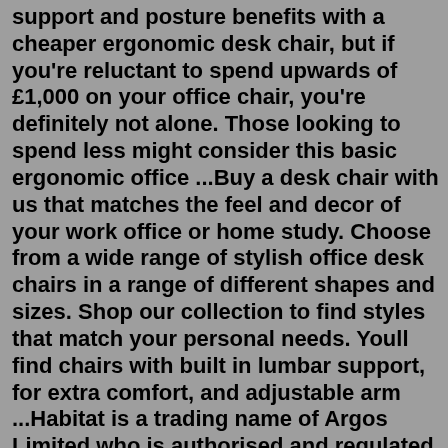support and posture benefits with a cheaper ergonomic desk chair, but if you're reluctant to spend upwards of £1,000 on your office chair, you're definitely not alone. Those looking to spend less might consider this basic ergonomic office ...Buy a desk chair with us that matches the feel and decor of your work office or home study. Choose from a wide range of stylish office desk chairs in a range of different shapes and sizes. Shop our collection to find styles that match your personal needs. Youll find chairs with built in lumbar support, for extra comfort, and adjustable arm ...Habitat is a trading name of Argos Limited who is authorised and regulated by the Financial Conduct Authority as a credit broker (713206) and works exclusively with the lender, Home Retail Group Card Services Limited trading as Argos Financial Services, who is authorised and regulated by the Financial Conduct Authority to provide credit (716148).Argos Home Walker Height Adjustable Office Chair - Black Bought in October 2021 Very little evidence of extreme condition on Sale last...